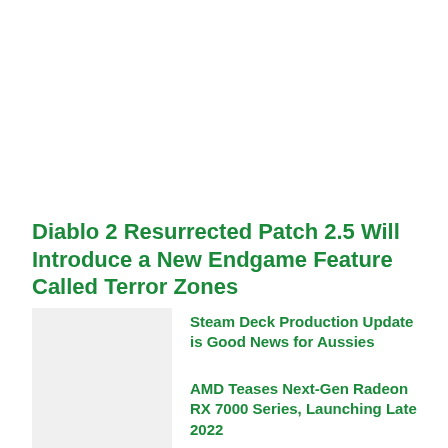Diablo 2 Resurrected Patch 2.5 Will Introduce a New Endgame Feature Called Terror Zones
Steam Deck Production Update is Good News for Aussies
AMD Teases Next-Gen Radeon RX 7000 Series, Launching Late 2022
Magic: The Gathering Dominaria United Exclusive Card Reveal